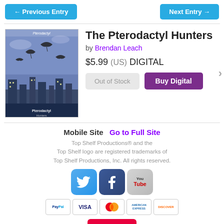← Previous Entry
Next Entry →
The Pterodactyl Hunters
by Brendan Leach
$5.99 (US) DIGITAL
Out of Stock | Buy Digital
[Figure (illustration): Book cover for The Pterodactyl Hunters showing a blue illustrated scene with flying pterodactyls over a cityscape]
Mobile Site   Go to Full Site
Top Shelf Productions® and the Top Shelf logo are registered trademarks of Top Shelf Productions, Inc. All rights reserved.
[Figure (logo): Social media icons: Twitter, Facebook, YouTube]
[Figure (logo): Payment icons: PayPal, VISA, Mastercard, American Express, Discover]
[Figure (logo): CLixel site by logo in red]